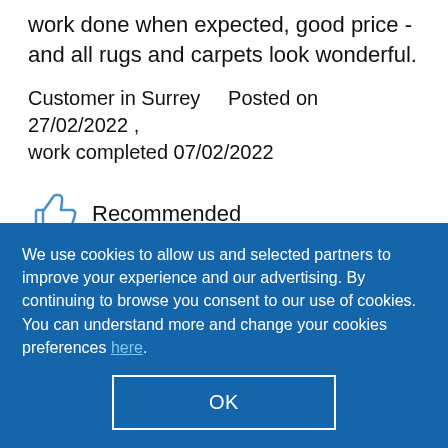work done when expected, good price - and all rugs and carpets look wonderful.
Customer in Surrey    Posted on 27/02/2022 , work completed 07/02/2022
Recommended
Customer Service
[Figure (other): Five red stars rating]
We use cookies to allow us and selected partners to improve your experience and our advertising. By continuing to browse you consent to our use of cookies. You can understand more and change your cookies preferences here.
OK